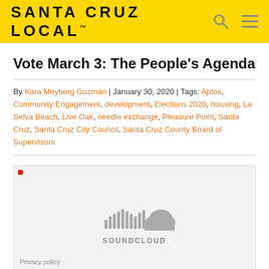SANTA CRUZ LOCAL™
Vote March 3: The People's Agenda
By Kara Meyberg Guzman | January 30, 2020 | Tags: Aptos, Community Engagement, development, Elections 2020, housing, La Selva Beach, Live Oak, needle exchange, Pleasure Point, Santa Cruz, Santa Cruz City Council, Santa Cruz County Board of Supervisors
[Figure (other): SoundCloud embedded audio player widget showing SoundCloud logo and branding with a Privacy policy link at the bottom]